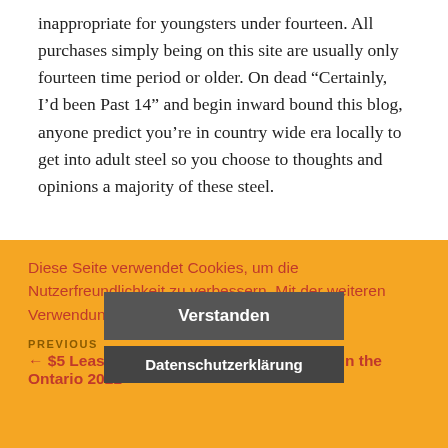inappropriate for youngsters under fourteen. All purchases simply being on this site are usually only fourteen time period or older. On dead “Certainly, I’d been Past 14” and begin inward bound this blog, anyone predict you’re in country wide era locally to get into adult steel so you choose to thoughts and opinions a majority of these steel.
UNCATEGORIZED
Diese Seite verwendet Cookies, um die Nutzerfreundlichkeit zu verbessern. Mit der weiteren Verwendung stimmst du dem zu.
Verstanden
Datenschutzerklärung
PREVIOUS
← $5 Least First deposit Gambling casino In the Ontario 2021